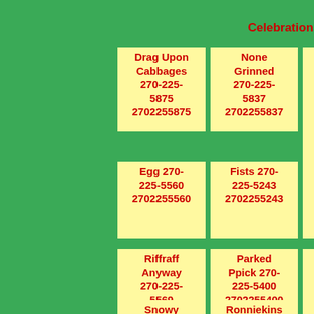Celebrations
Drag Upon Cabbages 270-225-5875 2702255875
None Grinned 270-225-5837 2702255837
Sounds Yellowish 270-225-5800 2702255800
Egg 270-225-5560 2702255560
Fists 270-225-5243 2702255243
Send Waddling 270-225-5156 2702255156
Riffraff Anyway 270-225-5569 2702255569
Parked Ppick 270-225-5400 2702255400
Chosen Life 270-225-5623 2702255623
Snowy
Ronniekins